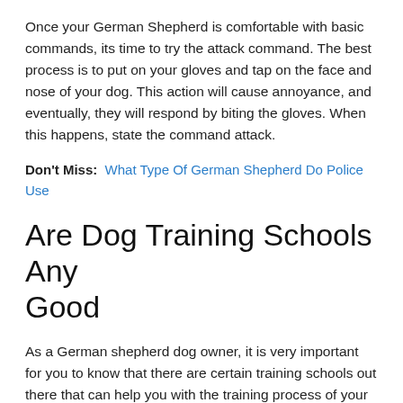Once your German Shepherd is comfortable with basic commands, its time to try the attack command. The best process is to put on your gloves and tap on the face and nose of your dog. This action will cause annoyance, and eventually, they will respond by biting the gloves. When this happens, state the command attack.
Don't Miss:  What Type Of German Shepherd Do Police Use
Are Dog Training Schools Any Good
As a German shepherd dog owner, it is very important for you to know that there are certain training schools out there that can help you with the training process of your GSD.